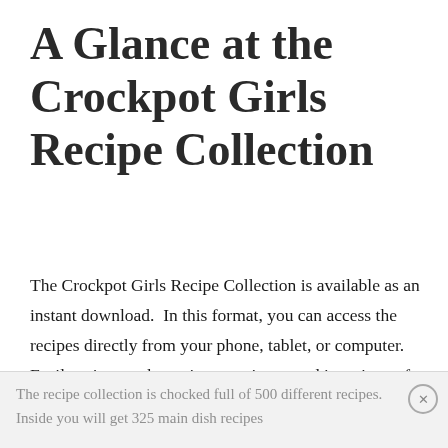A Glance at the Crockpot Girls Recipe Collection
The Crockpot Girls Recipe Collection is available as an instant download.  In this format, you can access the recipes directly from your phone, tablet, or computer.  Easily print out the recipe your interested in or just refer directly to the directions on your phone or tablet while your cooking.
The recipe collection is chocked full of 500 different recipes. Inside you will get 325 main dish recipes